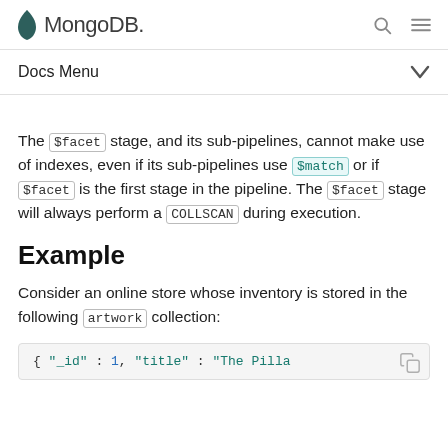MongoDB
Docs Menu
The $facet stage, and its sub-pipelines, cannot make use of indexes, even if its sub-pipelines use $match or if $facet is the first stage in the pipeline. The $facet stage will always perform a COLLSCAN during execution.
Example
Consider an online store whose inventory is stored in the following artwork collection:
[Figure (screenshot): Code block showing MongoDB document: { "_id" : 1, "title" : "The Pilla... (truncated)]